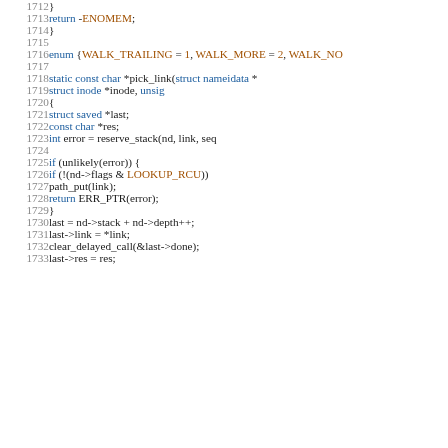Source code listing, lines 1712-1733, C kernel code showing pick_link function